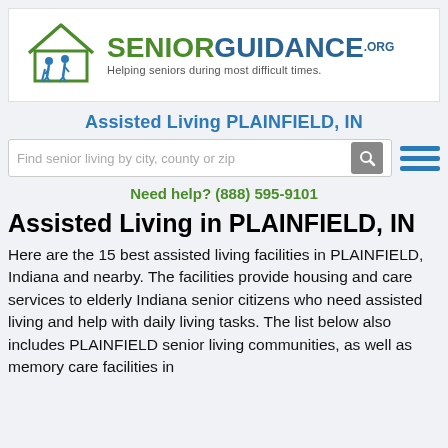[Figure (logo): SeniorGuidance.org logo with house icon and two elderly figures, tagline: Helping seniors during most difficult times.]
Assisted Living PLAINFIELD, IN
Find senior living by city, county or zip
Need help? (888) 595-9101
Assisted Living in PLAINFIELD, IN
Here are the 15 best assisted living facilities in PLAINFIELD, Indiana and nearby. The facilities provide housing and care services to elderly Indiana senior citizens who need assisted living and help with daily living tasks. The list below also includes PLAINFIELD senior living communities, as well as memory care facilities in